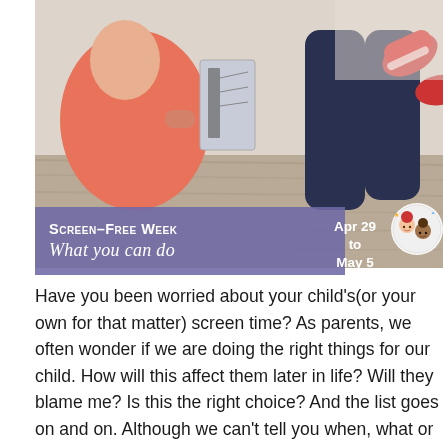[Figure (photo): Two young children sitting/lying on a fluffy rug. One child in coral/orange outfit on the left, another child in dark jeans and red sneakers on the right, appearing to hold a book or tablet. Light and airy indoor setting.]
Screen-Free Week What you can do Apr 29 to May 5
Have you been worried about your child's(or your own for that matter) screen time? As parents, we often wonder if we are doing the right things for our child. How will this affect them later in life? Will they blame me? Is this the right choice? And the list goes on and on. Although we can't tell you when, what or how much screen time is